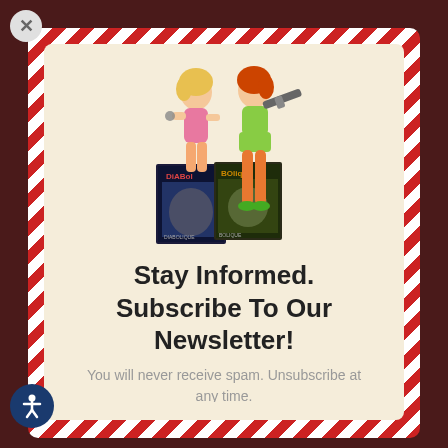[Figure (illustration): Two illustrated women in retro style holding guns, standing in front of comic book/magazine covers labeled 'Diabol' and 'Bolique']
Stay Informed. Subscribe To Our Newsletter!
You will never receive spam. Unsubscribe at any time.